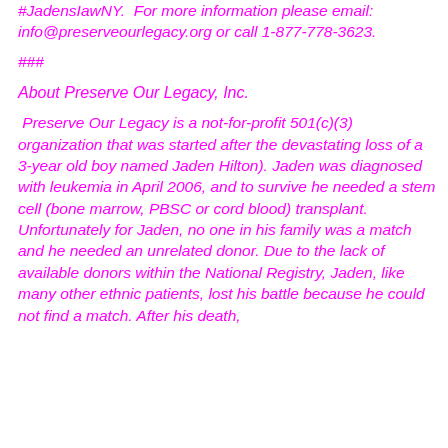#JadensIawNY. For more information please email: info@preserveourlegacy.org or call 1-877-778-3623.
###
About Preserve Our Legacy, Inc.
Preserve Our Legacy is a not-for-profit 501(c)(3) organization that was started after the devastating loss of a 3-year old boy named Jaden Hilton). Jaden was diagnosed with leukemia in April 2006, and to survive he needed a stem cell (bone marrow, PBSC or cord blood) transplant. Unfortunately for Jaden, no one in his family was a match and he needed an unrelated donor. Due to the lack of available donors within the National Registry, Jaden, like many other ethnic patients, lost his battle because he could not find a match. After his death,